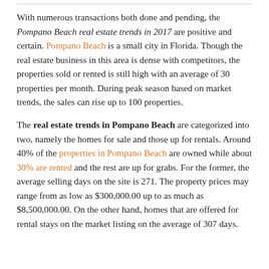With numerous transactions both done and pending, the Pompano Beach real estate trends in 2017 are positive and certain. Pompano Beach is a small city in Florida. Though the real estate business in this area is dense with competitors, the properties sold or rented is still high with an average of 30 properties per month. During peak season based on market trends, the sales can rise up to 100 properties.
The real estate trends in Pompano Beach are categorized into two, namely the homes for sale and those up for rentals. Around 40% of the properties in Pompano Beach are owned while about 30% are rented and the rest are up for grabs. For the former, the average selling days on the site is 271. The property prices may range from as low as $300,000.00 up to as much as $8,500,000.00. On the other hand, homes that are offered for rental stays on the market listing on the average of 307 days.